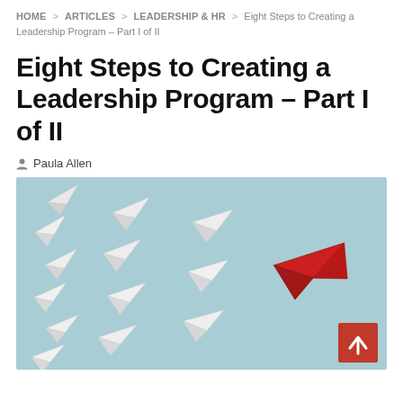HOME > ARTICLES > LEADERSHIP & HR > Eight Steps to Creating a Leadership Program – Part I of II
Eight Steps to Creating a Leadership Program – Part I of II
Paula Allen
[Figure (photo): A red paper airplane leading a group of white paper airplanes on a light blue background, symbolizing leadership.]